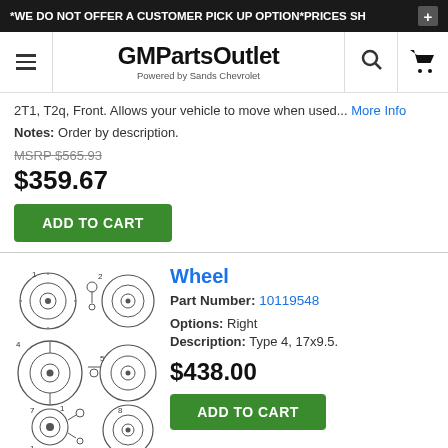*WE DO NOT OFFER A CUSTOMER PICK UP OPTION*PRICES SH
[Figure (logo): GMPartsOutlet logo - Powered by Sands Chevrolet, with hamburger menu, search, and cart icons]
2T1, T2q, Front. Allows your vehicle to move when used... More Info
Notes: Order by description.
MSRP $565.93
$359.67
ADD TO CART
Wheel
Part Number: 10119548
[Figure (engineering-diagram): Technical diagram of wheel parts showing multiple wheel assembly components numbered 1-8]
Options: Right
Description: Type 4, 17x9.5.
$438.00
ADD TO CART